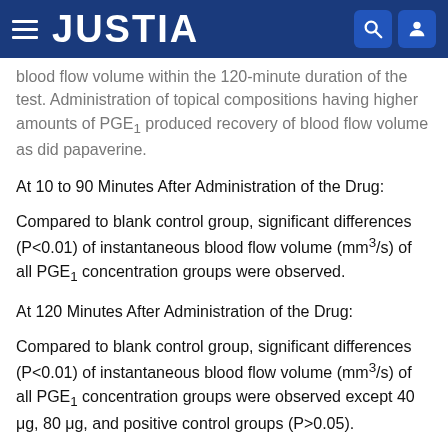JUSTIA
blood flow volume within the 120-minute duration of the test. Administration of topical compositions having higher amounts of PGE1 produced recovery of blood flow volume as did papaverine.
At 10 to 90 Minutes After Administration of the Drug:
Compared to blank control group, significant differences (P<0.01) of instantaneous blood flow volume (mm3/s) of all PGE1 concentration groups were observed.
At 120 Minutes After Administration of the Drug:
Compared to blank control group, significant differences (P<0.01) of instantaneous blood flow volume (mm3/s) of all PGE1 concentration groups were observed except 40 μg, 80 μg, and positive control groups (P>0.05).
The experimental results indicated application of PGE1